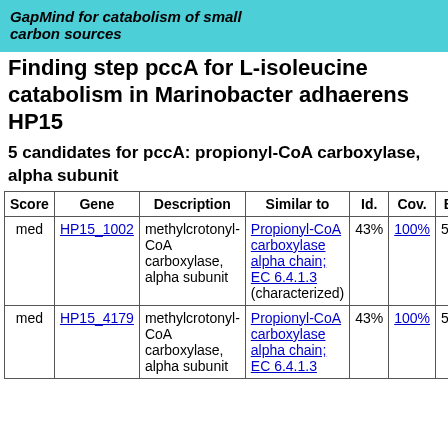GapMind for catabolism of small carbon sources
Finding step pccA for L-isoleucine catabolism in Marinobacter adhaerens HP15
5 candidates for pccA: propionyl-CoA carboxylase, alpha subunit
| Score | Gene | Description | Similar to | Id. | Cov. | B |
| --- | --- | --- | --- | --- | --- | --- |
| med | HP15_1002 | methylcrotonyl-CoA carboxylase, alpha subunit | Propionyl-CoA carboxylase alpha chain; EC 6.4.1.3 (characterized) | 43% | 100% | 50 |
| med | HP15_4179 | methylcrotonyl-CoA carboxylase, alpha subunit | Propionyl-CoA carboxylase alpha chain; EC 6.4.1.3 (characterized) | 43% | 100% | 50 |